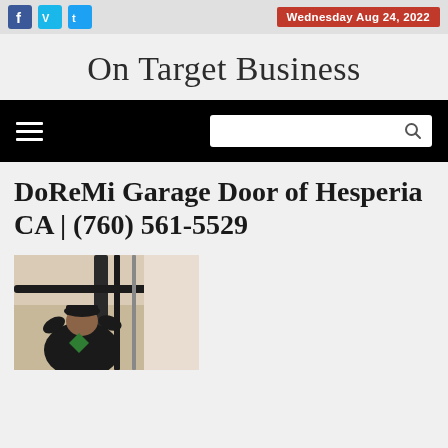Wednesday Aug 24, 2022
On Target Business
[Figure (screenshot): Black navigation bar with hamburger menu icon on the left and a white search input box with magnifying glass icon on the right]
DoReMi Garage Door of Hesperia CA | (760) 561-5529
[Figure (photo): A person in a black shirt with a green logo working on a garage door mechanism, viewed from below]